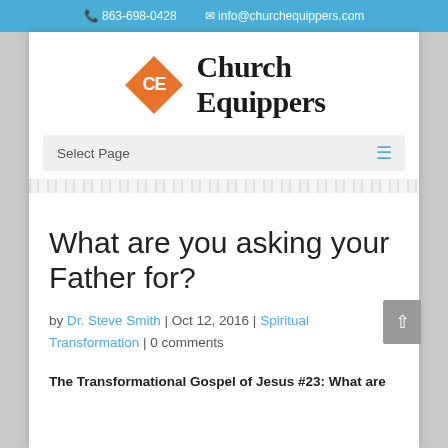863-698-0428   info@churchequippers.com
[Figure (logo): Church Equippers logo: orange diamond shape with 'CE' in white, next to bold serif text 'Church Equippers']
Select Page
What are you asking your Father for?
by Dr. Steve Smith | Oct 12, 2016 | Spiritual Transformation | 0 comments
The Transformational Gospel of Jesus #23: What are